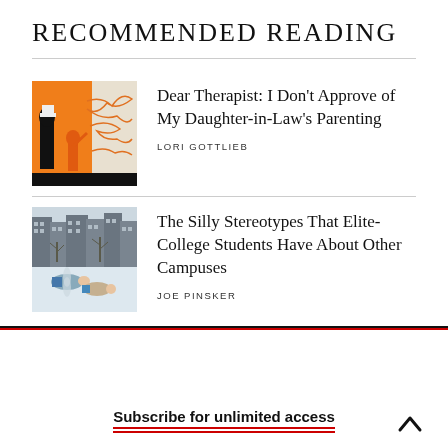RECOMMENDED READING
[Figure (illustration): Illustration of a woman in black coat and hat next to a child drawing orange scribbles on a wall, orange background]
Dear Therapist: I Don’t Approve of My Daughter-in-Law’s Parenting
LORI GOTTLIEB
[Figure (photo): Winter campus photo with people lying in the snow making snow angels, buildings in the background]
The Silly Stereotypes That Elite-College Students Have About Other Campuses
JOE PINSKER
Subscribe for unlimited access